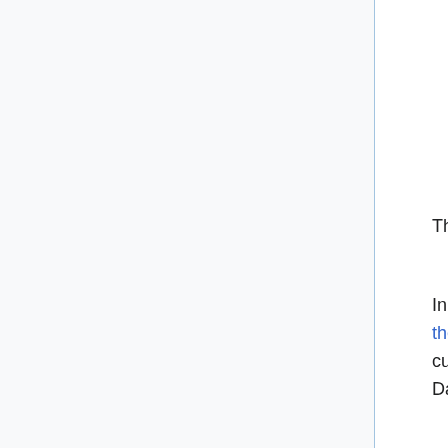earthy humor and satirical prowess and as the author of the novel Tom Jones.
The quotation comes from Fielding's play The Lottery, a farce (1724)
In her Los Angeles Times article Who's the idiot now? about the winners of the current record lottery columnist Meghan Daum writes:
On Wednesday morning in Lincoln, Neb., after four days of speculation about who had won the biggest jackpot in Powerball history, eight employees of a ConAgra ham processing plant came forward and identified themselves as the